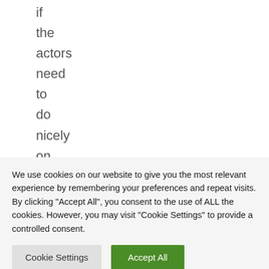if the actors need to do nicely on the present
We use cookies on our website to give you the most relevant experience by remembering your preferences and repeat visits. By clicking "Accept All", you consent to the use of ALL the cookies. However, you may visit "Cookie Settings" to provide a controlled consent.
Cookie Settings | Accept All